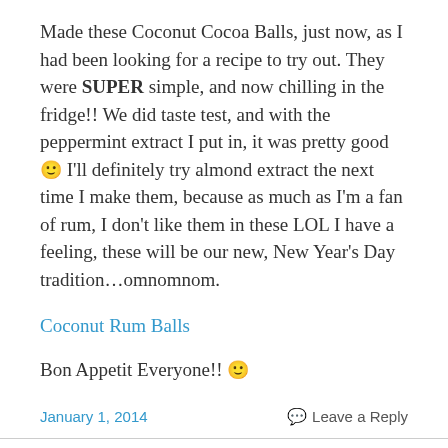Made these Coconut Cocoa Balls, just now, as I had been looking for a recipe to try out. They were SUPER simple, and now chilling in the fridge!! We did taste test, and with the peppermint extract I put in, it was pretty good 🙂 I'll definitely try almond extract the next time I make them, because as much as I'm a fan of rum, I don't like them in these LOL I have a feeling, these will be our new, New Year's Day tradition…omnomnom.
Coconut Rum Balls
Bon Appetit Everyone!! 🙂
January 1, 2014     Leave a Reply
Happy New Year Everyone!!